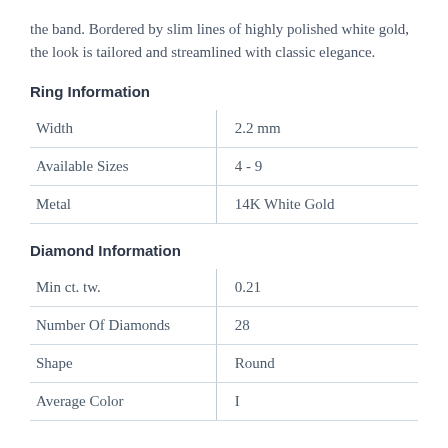the band. Bordered by slim lines of highly polished white gold, the look is tailored and streamlined with classic elegance.
Ring Information
| Width | 2.2 mm |
| Available Sizes | 4 - 9 |
| Metal | 14K White Gold |
Diamond Information
| Min ct. tw. | 0.21 |
| Number Of Diamonds | 28 |
| Shape | Round |
| Average Color | I |